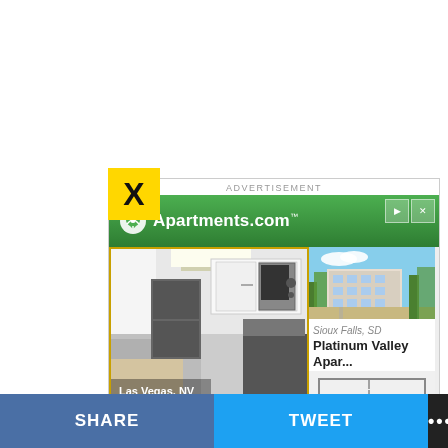[Figure (screenshot): Advertisement popup from Apartments.com showing kitchen photo labeled Las Vegas, NV on left, and Platinum Valley Apar... listing in Sioux Falls, SD on right. Yellow X close button in upper left corner. Green Apartments.com banner at top of ad.]
ADVERTISEMENT
Apartments.com™
Las Vegas, NV
Sioux Falls, SD
Platinum Valley Apar...
SHARE
TWEET